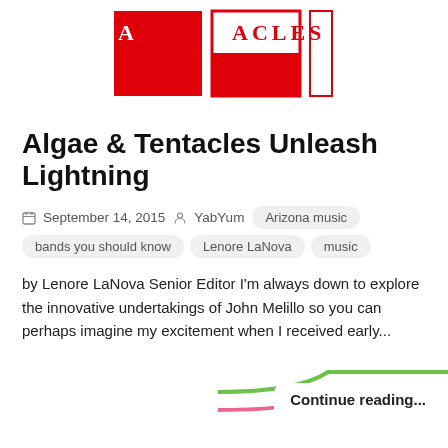[Figure (logo): Algae & Tentacles logo — red squares and white squares arranged in a grid with 'ACLES' text in red]
Algae & Tentacles Unleash Lightning
September 14, 2015  YabYum  Arizona music  bands you should know  Lenore LaNova  music
by Lenore LaNova Senior Editor I'm always down to explore the innovative undertakings of John Melillo so you can perhaps imagine my excitement when I received early...
Continue reading...